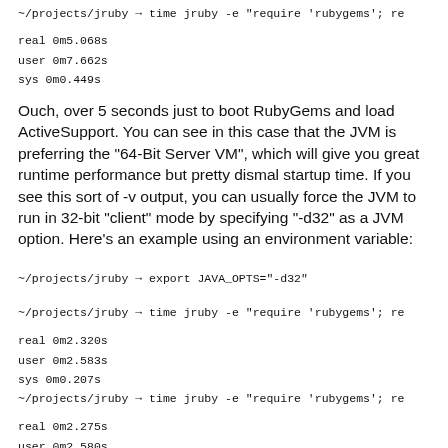~/projects/jruby → time jruby -e "require 'rubygems'; re
real 0m5.068s
user 0m7.662s
sys 0m0.449s
Ouch, over 5 seconds just to boot RubyGems and load ActiveSupport. You can see in this case that the JVM is preferring the "64-Bit Server VM", which will give you great runtime performance but pretty dismal startup time. If you see this sort of -v output, you can usually force the JVM to run in 32-bit "client" mode by specifying "-d32" as a JVM option. Here's an example using an environment variable:
~/projects/jruby → export JAVA_OPTS="-d32"
~/projects/jruby → time jruby -e "require 'rubygems'; re
real 0m2.320s
user 0m2.583s
sys 0m0.207s
~/projects/jruby → time jruby -e "require 'rubygems'; re
real 0m2.275s
user 0m2.580s